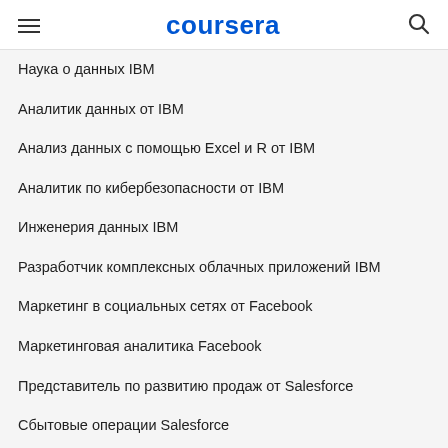coursera
Наука о данных IBM
Аналитик данных от IBM
Анализ данных с помощью Excel и R от IBM
Аналитик по кибербезопасности от IBM
Инженерия данных IBM
Разработчик комплексных облачных приложений IBM
Маркетинг в социальных сетях от Facebook
Маркетинговая аналитика Facebook
Представитель по развитию продаж от Salesforce
Сбытовые операции Salesforce
Бухгалтерия от 'Интуит'
Подготовка к сертификации Google Cloud: облачный архитектор
Подготовка к сертификации Google Cloud: специалист по инженерии облачных данных